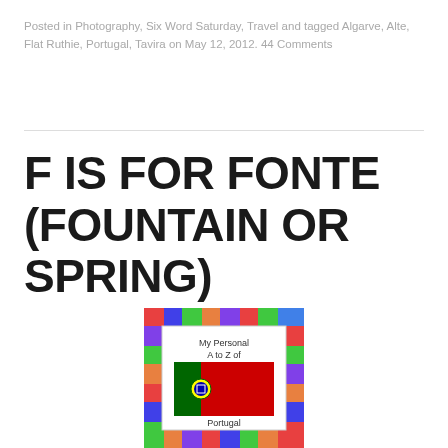Posted in Photography, Six Word Saturday, Travel and tagged Algarve, Alte, Flat Ruthie, Portugal, Tavira on May 12, 2012. 44 Comments
F IS FOR FONTE (FOUNTAIN OR SPRING)
[Figure (illustration): Book cover image showing 'My Personal A to Z of Portugal' with a colorful mosaic-style border and a Portuguese flag in the center]